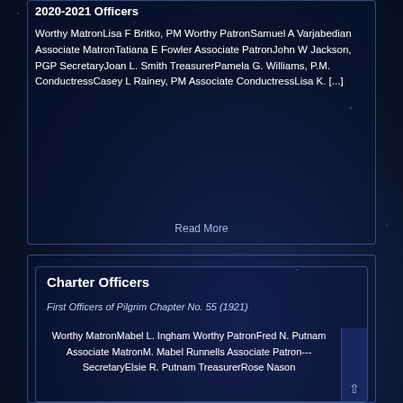2020-2021 Officers
Worthy MatronLisa F Britko, PM Worthy PatronSamuel A Varjabedian Associate MatronTatiana E Fowler Associate PatronJohn W Jackson, PGP SecretaryJoan L. Smith TreasurerPamela G. Williams, P.M. ConductressCasey L Rainey, PM Associate ConductressLisa K. [...]
Read More
Charter Officers
First Officers of Pilgrim Chapter No. 55 (1921)
Worthy MatronMabel L. Ingham Worthy PatronFred N. Putnam Associate MatronM. Mabel Runnells Associate Patron--- SecretaryElsie R. Putnam TreasurerRose Nason